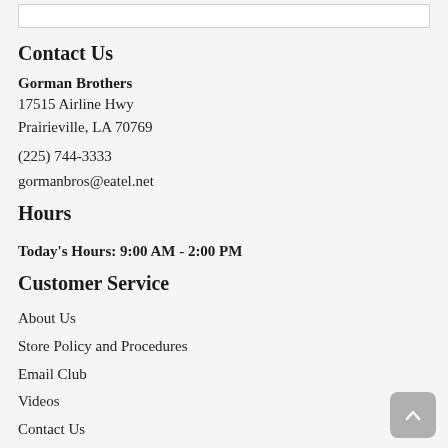Contact Us
Gorman Brothers
17515 Airline Hwy
Prairieville, LA 70769
(225) 744-3333
gormanbros@eatel.net
Hours
Today's Hours: 9:00 AM - 2:00 PM
Customer Service
About Us
Store Policy and Procedures
Email Club
Videos
Contact Us